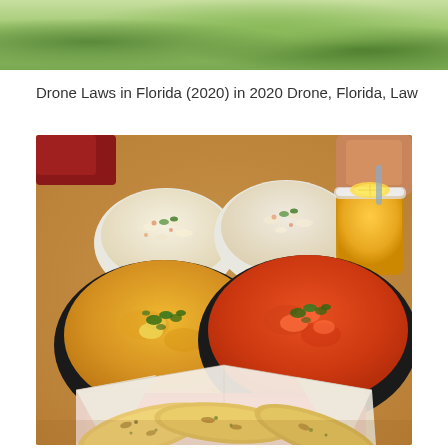[Figure (photo): Partial top image showing green outdoor scenery, cropped at top of page]
Drone Laws in Florida (2020) in 2020 Drone, Florida, Law
[Figure (photo): Indian food spread on a restaurant table: two bowls of rice, a mango lassi drink, a black bowl of yellow dal/curry garnished with cilantro, a black bowl of orange-red butter chicken/paneer garnished with cilantro, and a red basket with garlic naan bread wrapped in white paper]